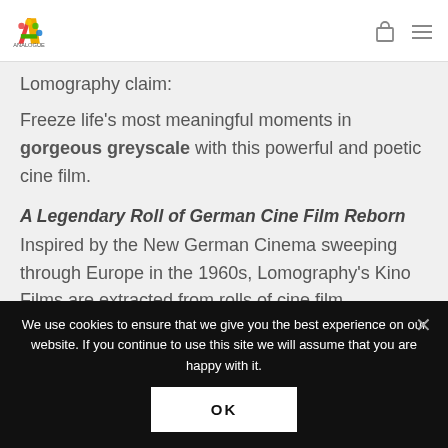AG Analogue
Lomography claim:
Freeze life's most meaningful moments in gorgeous greyscale with this powerful and poetic cine film.
A Legendary Roll of German Cine Film Reborn
Inspired by the New German Cinema sweeping through Europe in the 1960s, Lomography's Kino Films are extracted from rolls of cine film
We use cookies to ensure that we give you the best experience on our website. If you continue to use this site we will assume that you are happy with it.